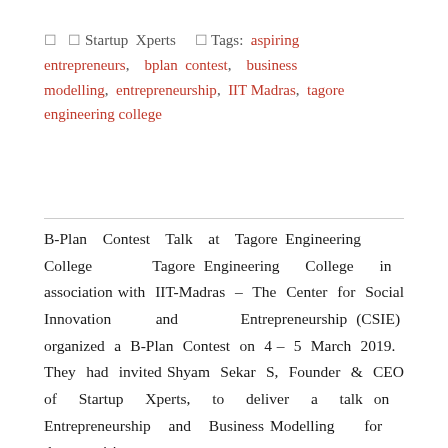☐ ☐ Startup Xperts ☐ Tags: aspiring entrepreneurs, bplan contest, business modelling, entrepreneurship, IIT Madras, tagore engineering college
B-Plan Contest Talk at Tagore Engineering College Tagore Engineering College in association with IIT-Madras – The Center for Social Innovation and Entrepreneurship (CSIE) organized a B-Plan Contest on 4 – 5 March 2019. They had invited Shyam Sekar S, Founder & CEO of Startup Xperts, to deliver a talk on Entrepreneurship and Business Modelling for the aspiring entrepreneurs. The aspiring